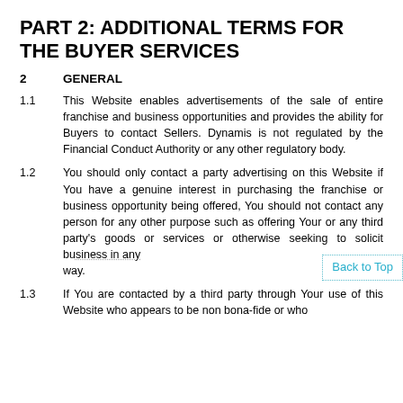PART 2: ADDITIONAL TERMS FOR THE BUYER SERVICES
2   GENERAL
1.1   This Website enables advertisements of the sale of entire franchise and business opportunities and provides the ability for Buyers to contact Sellers. Dynamis is not regulated by the Financial Conduct Authority or any other regulatory body.
1.2   You should only contact a party advertising on this Website if You have a genuine interest in purchasing the franchise or business opportunity being offered, You should not contact any person for any other purpose such as offering Your or any third party's goods or services or otherwise seeking to solicit business in any way.
1.3   If You are contacted by a third party through Your use of this Website who appears to be non bona-fide or who